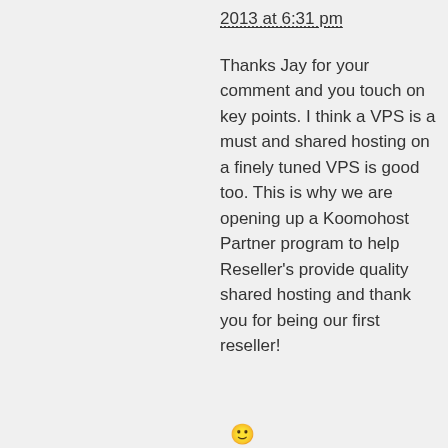2013 at 6:31 pm
Thanks Jay for your comment and you touch on key points. I think a VPS is a must and shared hosting on a finely tuned VPS is good too. This is why we are opening up a Koomohost Partner program to help Reseller's provide quality shared hosting and thank you for being our first reseller!